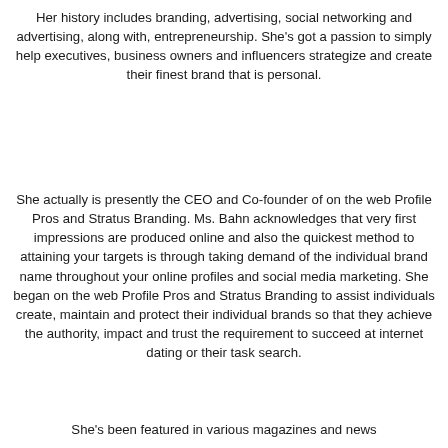Her history includes branding, advertising, social networking and advertising, along with, entrepreneurship. She's got a passion to simply help executives, business owners and influencers strategize and create their finest brand that is personal.
She actually is presently the CEO and Co-founder of on the web Profile Pros and Stratus Branding. Ms. Bahn acknowledges that very first impressions are produced online and also the quickest method to attaining your targets is through taking demand of the individual brand name throughout your online profiles and social media marketing. She began on the web Profile Pros and Stratus Branding to assist individuals create, maintain and protect their individual brands so that they achieve the authority, impact and trust the requirement to succeed at internet dating or their task search.
She's been featured in various magazines and news...